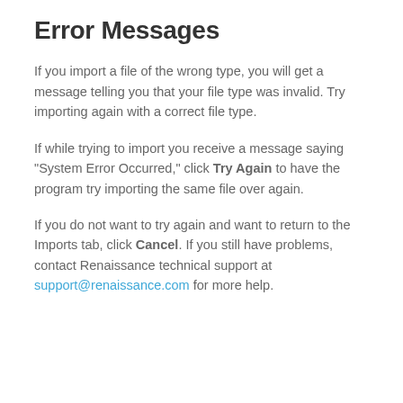Error Messages
If you import a file of the wrong type, you will get a message telling you that your file type was invalid. Try importing again with a correct file type.
If while trying to import you receive a message saying "System Error Occurred," click Try Again to have the program try importing the same file over again.
If you do not want to try again and want to return to the Imports tab, click Cancel. If you still have problems, contact Renaissance technical support at support@renaissance.com for more help.